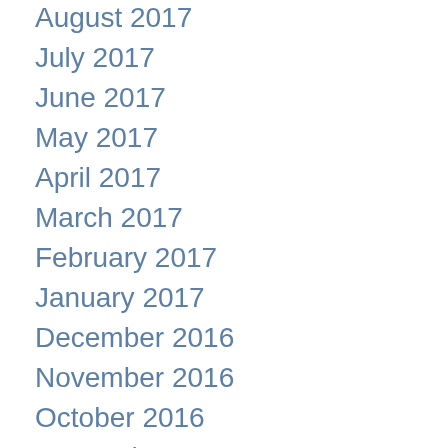August 2017
July 2017
June 2017
May 2017
April 2017
March 2017
February 2017
January 2017
December 2016
November 2016
October 2016
September 2016
August 2016
July 2016